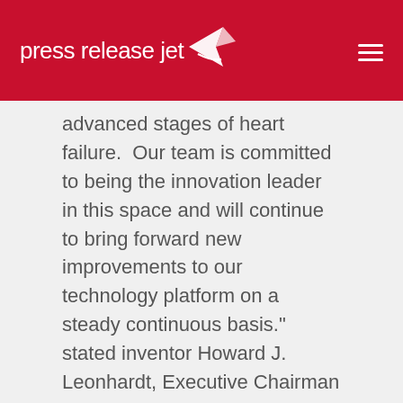pressreleasejet
advanced stages of heart failure.  Our team is committed to being the innovation leader in this space and will continue to bring forward new improvements to our technology platform on a steady continuous basis." stated inventor Howard J. Leonhardt, Executive Chairman and CEO of Second Heart Assist, Inc.
Second Heart Assist, Inc. previously announced these related product innovations